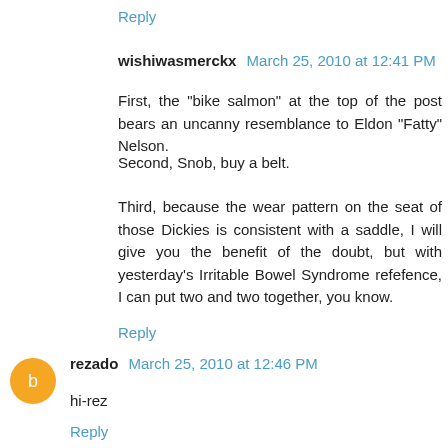Reply
wishiwasmerckx  March 25, 2010 at 12:41 PM
First, the "bike salmon" at the top of the post bears an uncanny resemblance to Eldon "Fatty" Nelson.
Second, Snob, buy a belt.
Third, because the wear pattern on the seat of those Dickies is consistent with a saddle, I will give you the benefit of the doubt, but with yesterday's Irritable Bowel Syndrome refefence, I can put two and two together, you know.
Reply
rezado  March 25, 2010 at 12:46 PM
hi-rez
Reply